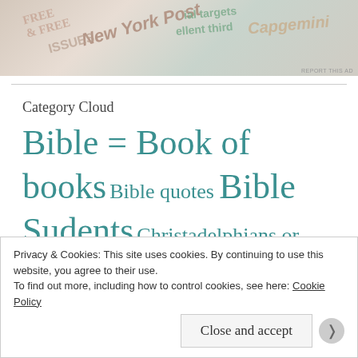[Figure (other): Advertisement banner image showing newspaper clippings and overlapping text/logos including NY Post, 'FREE ISSUES', 'ial targets', 'ellent third', 'Capgemini']
Category Cloud
Bible = Book of books Bible quotes Bible Sudents Christadelphians or Brothers
Privacy & Cookies: This site uses cookies. By continuing to use this website, you agree to their use.
To find out more, including how to control cookies, see here: Cookie Policy
Close and accept